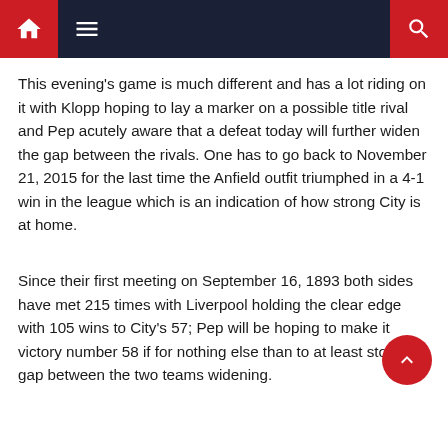[Navigation bar with home icon, menu icon, and search icon]
This evening's game is much different and has a lot riding on it with Klopp hoping to lay a marker on a possible title rival and Pep acutely aware that a defeat today will further widen the gap between the rivals. One has to go back to November 21, 2015 for the last time the Anfield outfit triumphed in a 4-1 win in the league which is an indication of how strong City is at home.
Since their first meeting on September 16, 1893 both sides have met 215 times with Liverpool holding the clear edge with 105 wins to City's 57; Pep will be hoping to make it victory number 58 if for nothing else than to at least stop the gap between the two teams widening.